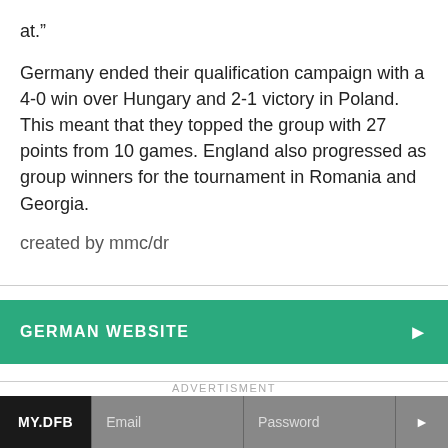at.”
Germany ended their qualification campaign with a 4-0 win over Hungary and 2-1 victory in Poland. This meant that they topped the group with 27 points from 10 games. England also progressed as group winners for the tournament in Romania and Georgia.
created by mmc/dr
GERMAN WEBSITE
ADVERTISMENT
MY.DFB